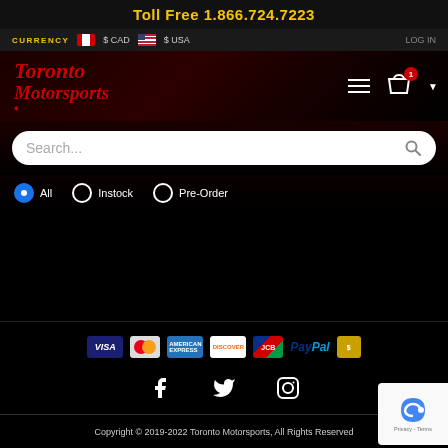Toll Free 1.866.724.7223
CURRENCY  $ CAD  $ USA  LOG IN
[Figure (logo): Toronto Motorsports logo with red cursive text and maple leaf]
Search...
All
Instock
Pre-Order
[Figure (infographic): Payment method icons: Visa, Mastercard, American Express, Discover, JCB, PayPal, and one more]
[Figure (infographic): Social media icons: Facebook, Twitter, Instagram]
Copyright © 2019-2022 Toronto Motorsports, All Rights Reserved